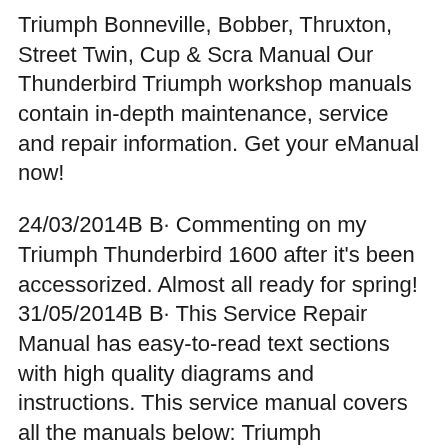Triumph Bonneville, Bobber, Thruxton, Street Twin, Cup & Scra Manual Our Thunderbird Triumph workshop manuals contain in-depth maintenance, service and repair information. Get your eManual now!
24/03/2014B B· Commenting on my Triumph Thunderbird 1600 after it's been accessorized. Almost all ready for spring! 31/05/2014B B· This Service Repair Manual has easy-to-read text sections with high quality diagrams and instructions. This service manual covers all the manuals below: Triumph Thunderbird 2009 Service Repair Manual Triumph Thunderbird 2010 Service Repair Manual Triumph